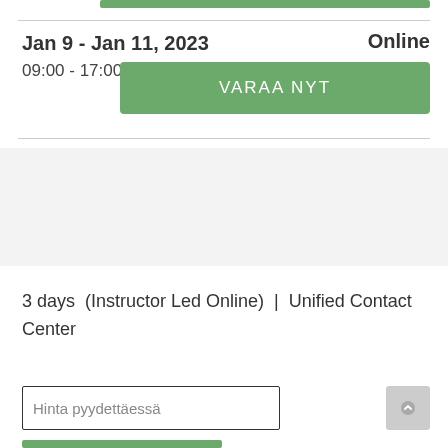Jan 9 - Jan 11, 2023
09:00 - 17:00
Online
VARAA NYT
3 days  (Instructor Led Online)  |  Unified Contact Center
Hinta pyydettäessä